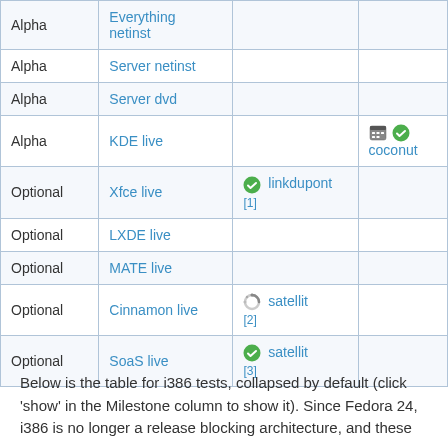|  |  |  |  |
| --- | --- | --- | --- |
| Alpha | Everything netinst |  |  |
| Alpha | Server netinst |  |  |
| Alpha | Server dvd |  |  |
| Alpha | KDE live |  | 🗓✅ coconut |
| Optional | Xfce live | ✅ linkdupont [1] |  |
| Optional | LXDE live |  |  |
| Optional | MATE live |  |  |
| Optional | Cinnamon live | ⏳ satellit [2] |  |
| Optional | SoaS live | ✅ satellit [3] |  |
Below is the table for i386 tests, collapsed by default (click 'show' in the Milestone column to show it). Since Fedora 24, i386 is no longer a release blocking architecture, and these